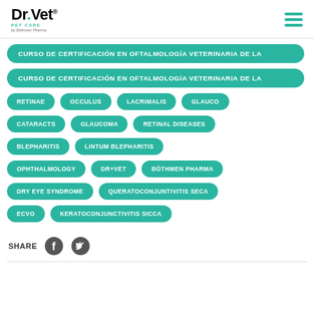Dr.Vet Pet Care by Böthmen Pharma
CURSO DE CERTIFICACIÓN EN OFTALMOLOGÍA VETERINARIA DE LA
CURSO DE CERTIFICACIÓN EN OFTALMOLOGÍA VETERINARIA DE LA
RETINAE
OCCULUS
LACRIMALIS
GLAUCO
CATARACTS
GLAUCOMA
RETINAL DISEASES
BLEPHARITIS
LINTUM BLEPHARITIS
OPHTHALMOLOGY
DR+VET
BÖTHMEN PHARMA
DRY EYE SYNDROME
QUERATOCONJUNTIVITIS SECA
ECVO
KERATOCONJUNCTIVITIS SICCA
SHARE